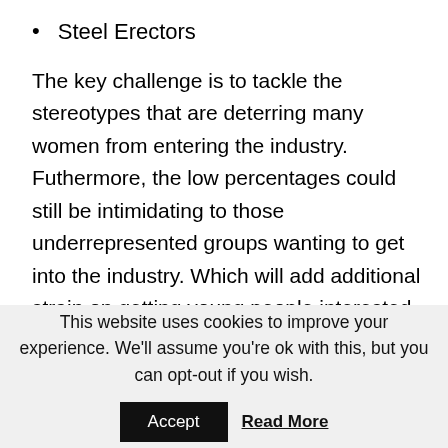Steel Erectors
The key challenge is to tackle the stereotypes that are deterring many women from entering the industry. Futhermore, the low percentages could still be intimidating to those underrepresented groups wanting to get into the industry. Which will add additional strain on getting young people interested in the sector as their career.
This website uses cookies to improve your experience. We'll assume you're ok with this, but you can opt-out if you wish.
Accept  Read More